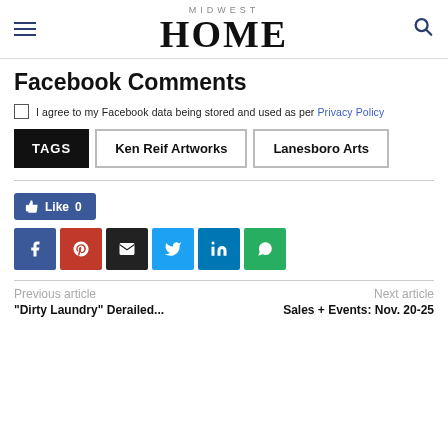MIDWEST HOME
Facebook Comments
I agree to my Facebook data being stored and used as per Privacy Policy
TAGS  Ken Reif Artworks  Lanesboro Arts
Like 0
[Figure (other): Social sharing buttons: Facebook, Pinterest, Email, Twitter, LinkedIn, WhatsApp]
Previous article
"Dirty Laundry" Derailed...
Next article
Sales + Events: Nov. 20-25